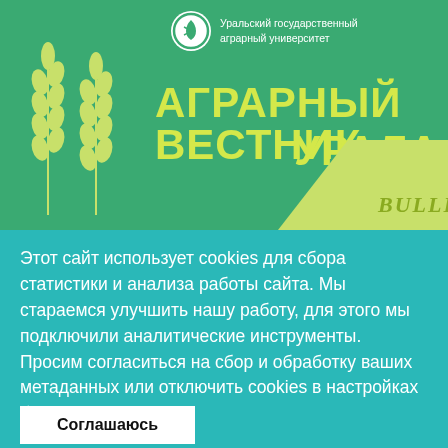[Figure (illustration): Cover image of Agrarian Bulletin of the Urals journal with green background, wheat stalks on left, yellow-green title text in Russian, diagonal light green band with 'BULLETIN' text, and university logo at top.]
Этот сайт использует cookies для сбора статистики и анализа работы сайта. Мы стараемся улучшить нашу работу, для этого мы подключили аналитические инструменты. Просим согласиться на сбор и обработку ваших метаданных или отключить cookies в настройках браузера.
Соглашаюсь